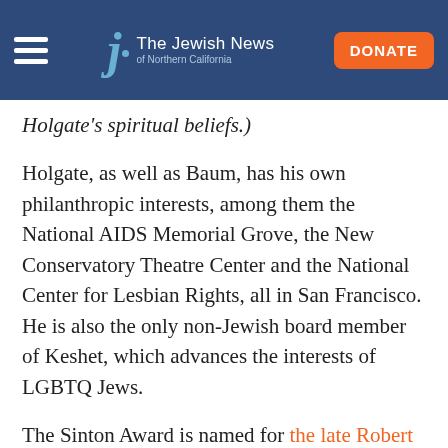The Jewish News of Northern California
Holgate’s spiritual beliefs.)
Holgate, as well as Baum, has his own philanthropic interests, among them the National AIDS Memorial Grove, the New Conservatory Theatre Center and the National Center for Lesbian Rights, all in San Francisco. He is also the only non-Jewish board member of Keshet, which advances the interests of LGBTQ Jews.
The Sinton Award is named for the late Robert Sinton, a businessman and community leader whose dedication to the Federation and other Bay Area organizations spanned more than five decades.